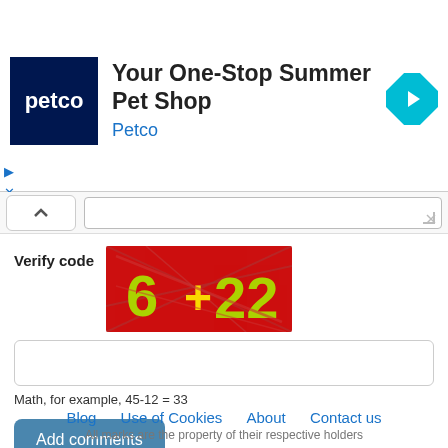[Figure (screenshot): Petco advertisement banner: blue square logo with 'petco' text, headline 'Your One-Stop Summer Pet Shop', subtext 'Petco', and a cyan diamond navigation icon on the right.]
[Figure (screenshot): A red CAPTCHA image showing distorted math characters '6+22' with diagonal lines crossing through them in yellow-green text on red background.]
Verify code
Math, for example, 45-12 = 33
Add comments
Blog   Use of Cookies   About   Contact us
All marks are the property of their respective holders